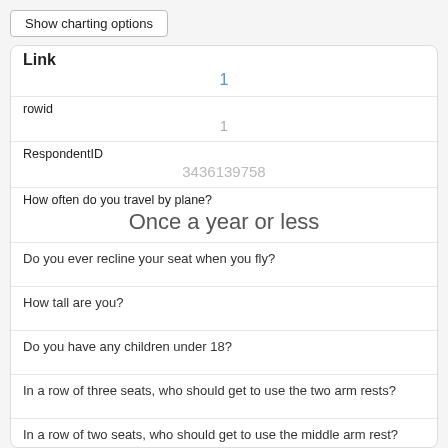Show charting options
| Field | Value |
| --- | --- |
| Link | 1 |
| rowid | 1 |
| RespondentID | 3436139758 |
| How often do you travel by plane? | Once a year or less |
| Do you ever recline your seat when you fly? |  |
| How tall are you? |  |
| Do you have any children under 18? |  |
| In a row of three seats, who should get to use the two arm rests? |  |
| In a row of two seats, who should get to use the middle arm rest? |  |